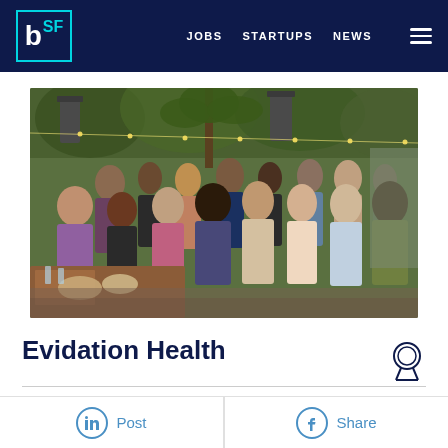b SF | JOBS  STARTUPS  NEWS
[Figure (photo): Group photo of approximately 20 people gathered outdoors at a restaurant/patio with greenery and string lights in the background. People are smiling and posing for the photo. A table with food and drinks is visible in the lower left.]
Evidation Health
Post  Share